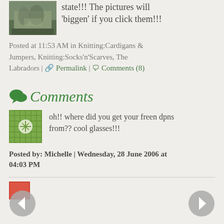[Figure (photo): Small thumbnail photo of a crowd of people on a street]
state!!! The pictures will 'biggen' if you click them!!!
Posted at 11:53 AM in Knitting:Cardigans & Jumpers, Knitting:Socks'n'Scarves, The Labradors | 🔗 Permalink | 💬 Comments (8)
Comments
[Figure (illustration): Green decorative avatar icon with geometric pattern]
oh!! where did you get your freen dpns from?? cool glasses!!!
Posted by: Michelle | Wednesday, 28 June 2006 at 04:03 PM
[Figure (illustration): Second commenter avatar thumbnail, partially visible at bottom]